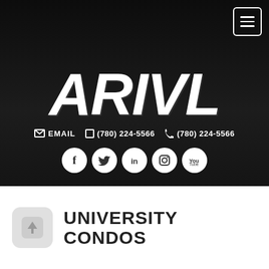[Figure (screenshot): Dark hero section of ARIVL website with logo, contact info, social icons, and menu button]
ARIVL
EMAIL  (780) 224-5566  (780) 224-5566
[Figure (illustration): Social media icons: Facebook, Twitter, LinkedIn, Instagram, YouTube]
[Figure (illustration): Share/upload icon in gray rounded square]
UNIVERSITY CONDOS